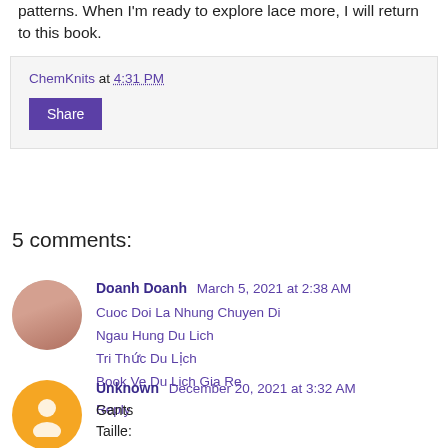patterns. When I'm ready to explore lace more, I will return to this book.
ChemKnits at 4:31 PM
Share
5 comments:
Doanh Doanh March 5, 2021 at 2:38 AM
Cuoc Doi La Nhung Chuyen Di
Ngau Hung Du Lich
Tri Thức Du Lịch
Book Ve Du Lich Gia Re
Reply
Unknown December 20, 2021 at 3:32 AM
Gants
Taille: